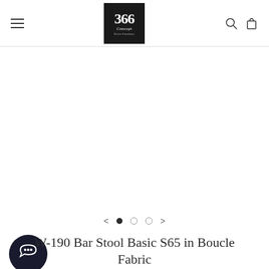366 Concept Retro Furniture — navigation header with logo, hamburger menu, search, and cart icons
[Figure (screenshot): Empty white product image area with carousel navigation (left arrow, 3 dots with first dot filled, right arrow)]
W-190 Bar Stool Basic S65 in Boucle Fabric